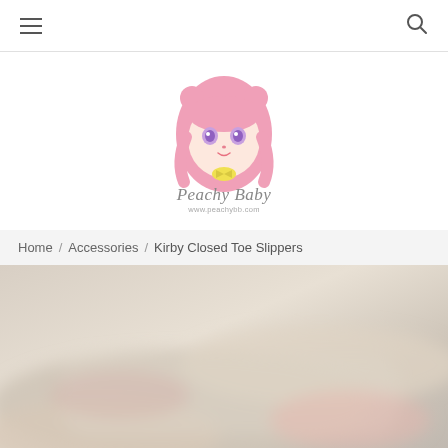Navigation bar with hamburger menu and search icon
[Figure (logo): Peachy Baby logo featuring an anime-style girl with pink hair, large purple eyes, and text 'Peachy Baby' with www.peachybb.com]
Home / Accessories / Kirby Closed Toe Slippers
[Figure (photo): Blurred close-up product photo of Kirby Closed Toe Slippers with soft pink and beige tones]